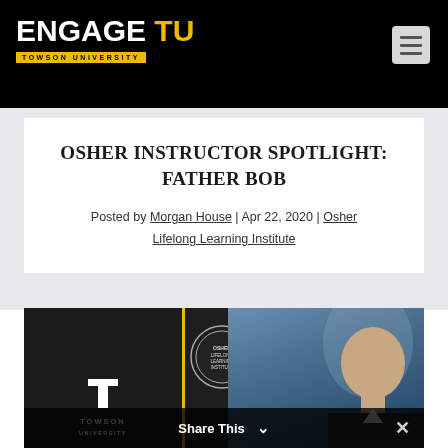ENGAGE TU — TOWSON UNIVERSITY
OSHER INSTRUCTOR SPOTLIGHT: FATHER BOB
Posted by Morgan House | Apr 22, 2020 | Osher Lifelong Learning Institute
[Figure (photo): Bottom image strip showing Towson University logo on left with gold divider, Osher Lifelong Learning Institute circle logo in center, and a portrait photo of a man on the right against a cloudy sky background. A 'Share This' bar overlays the bottom.]